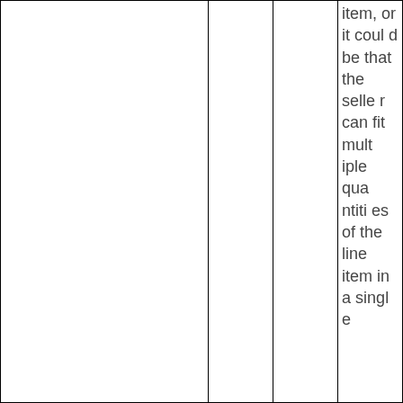|  |  |  | item, or it could be that the seller can fit multiple quantities of the line item in a single |